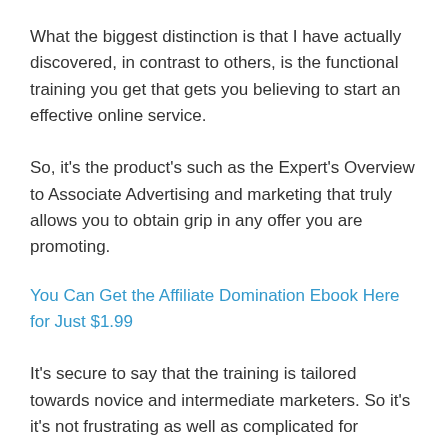What the biggest distinction is that I have actually discovered, in contrast to others, is the functional training you get that gets you believing to start an effective online service.
So, it's the product's such as the Expert's Overview to Associate Advertising and marketing that truly allows you to obtain grip in any offer you are promoting.
You Can Get the Affiliate Domination Ebook Here for Just $1.99
It's secure to say that the training is tailored towards novice and intermediate marketers. So it's it's not frustrating as well as complicated for